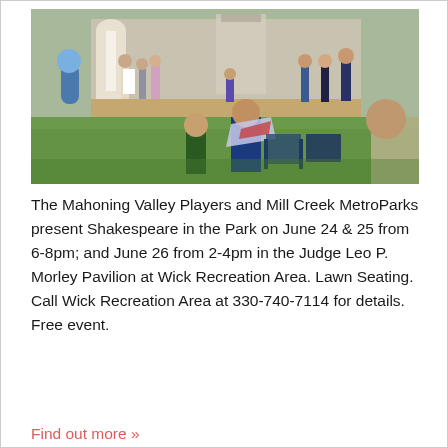[Figure (photo): Outdoor theater performance at a park pavilion. Audience members seated on lawn chairs and ground watching performers on a stage. A child and adult wrapped in a flag are visible in the foreground. Performers in period costumes on stage in background.]
The Mahoning Valley Players and Mill Creek MetroParks present Shakespeare in the Park on June 24 & 25 from 6-8pm; and June 26 from 2-4pm in the Judge Leo P. Morley Pavilion at Wick Recreation Area. Lawn Seating. Call Wick Recreation Area at 330-740-7114 for details. Free event.
Find out more »